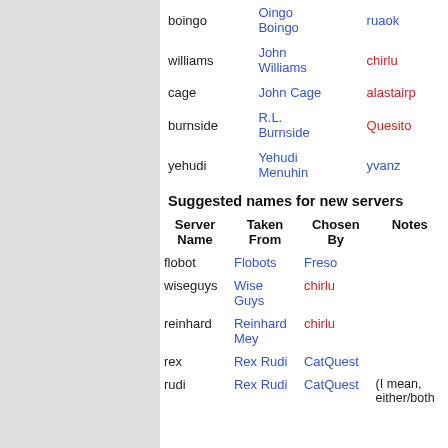| Server Name | Taken From | Chosen By |
| --- | --- | --- |
| boingo | Oingo Boingo | ruaok |
| williams | John Williams | chirlu |
| cage | John Cage | alastairp |
| burnside | R.L. Burnside | Quesito |
| yehudi | Yehudi Menuhin | yvanz |
Suggested names for new servers
| Server Name | Taken From | Chosen By | Notes |
| --- | --- | --- | --- |
| flobot | Flobots | Freso |  |
| wiseguys | Wise Guys | chirlu |  |
| reinhard | Reinhard Mey | chirlu |  |
| rex | Rex Rudi | CatQuest |  |
| rudi | Rex Rudi | CatQuest | (I mean, either/both |